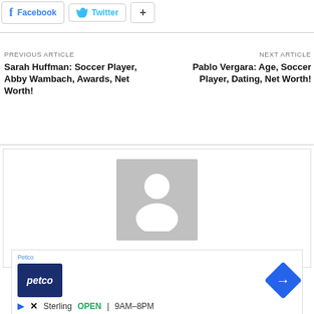[Figure (other): Social share buttons: Facebook (blue f icon), Twitter (blue bird icon), and a plus button]
PREVIOUS ARTICLE
Sarah Huffman: Soccer Player, Abby Wambach, Awards, Net Worth!
NEXT ARTICLE
Pablo Vergara: Age, Soccer Player, Dating, Net Worth!
[Figure (photo): Generic user avatar placeholder — grey square with white silhouette of a person]
Name Crimin...
[Figure (other): Petco advertisement showing Petco logo, navigation arrow icon, play button, X button, Sterling store listing with OPEN 9AM-8PM]